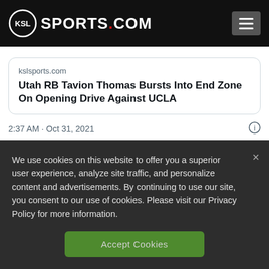[Figure (logo): KSL Sports.com logo with circular KSL emblem and hamburger menu button on dark header]
kslsports.com
Utah RB Tavion Thomas Bursts Into End Zone On Opening Drive Against UCLA
2:37 AM · Oct 31, 2021
♡  1    Reply    Copy link to Tweet
We use cookies on this website to offer you a superior user experience, analyze site traffic, and personalize content and advertisements. By continuing to use our site, you consent to our use of cookies. Please visit our Privacy Policy for more information.
Accept Cookies